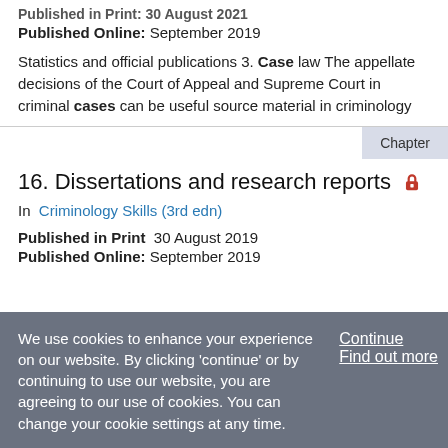Published in Print: [30 August 2019]
Published Online: September 2019
Statistics and official publications 3. Case law The appellate decisions of the Court of Appeal and Supreme Court in criminal cases can be useful source material in criminology
Chapter
16. Dissertations and research reports
In Criminology Skills (3rd edn)
Published in Print 30 August 2019
Published Online: September 2019
We use cookies to enhance your experience on our website. By clicking 'continue' or by continuing to use our website, you are agreeing to our use of cookies. You can change your cookie settings at any time.
Continue
Find out more